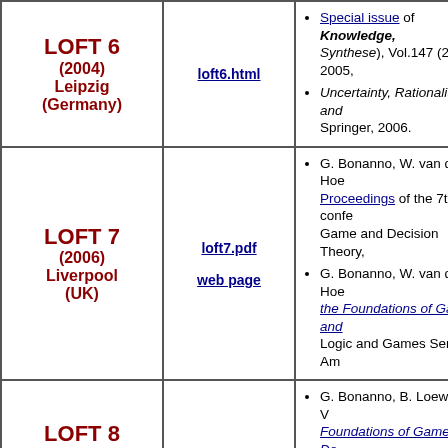| Conference | Link | Publications |
| --- | --- | --- |
| LOFT 6 (2004) Leipzig (Germany) | loft6.html | Special issue of Knowledge, Synthese, Vol.147 (2), 2005. Uncertainty, Rationality and ... Springer, 2006. |
| LOFT 7 (2006) Liverpool (UK) | loft7.pdf / web page | G. Bonanno, W. van der Hoe... Proceedings of the 7th confe... Game and Decision Theory. G. Bonanno, W. van der Hoe... the Foundations of Game an... Logic and Games Series, Am... |
| LOFT 8 (2008) Amsterdam (The Netherlands) | loft8.html / web page | G. Bonanno, B. Loewe and V... Foundations of Game and De... Notes in Artificial Intelligen... Access the digital version at https://link.springer.com/book/10... Publisher's link: http://www.s... |
|  |  | G. Bonanno, A. Herzig, J. La... (editors), Special double issu... (LOFT 2010)... Journal of A... |